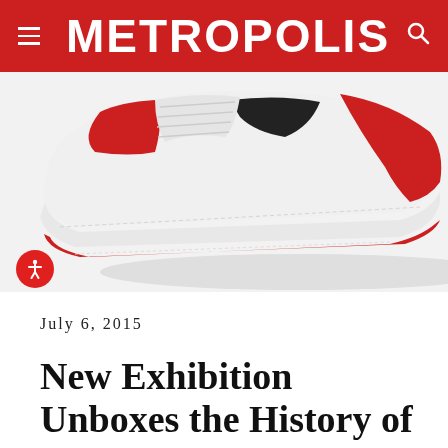METROPOLIS
[Figure (photo): Close-up photograph of a red and white Nike Air Jordan 1 sneaker sole resting on a white background, showing the red and white midsole and outsole.]
July 6, 2015
New Exhibition Unboxes the History of the Sneaker